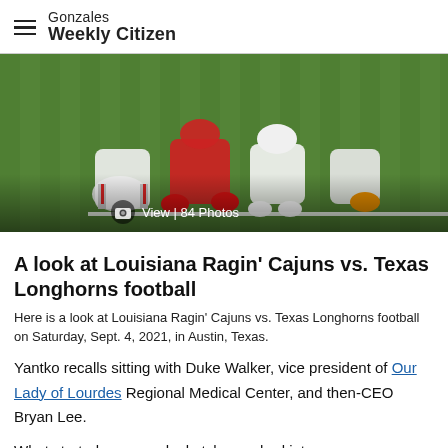Gonzales Weekly Citizen
[Figure (photo): Football players at line of scrimmage, Louisiana Ragin' Cajuns vs. Texas Longhorns, wearing red and white uniforms on green turf field. Overlay text: View | 84 Photos]
A look at Louisiana Ragin' Cajuns vs. Texas Longhorns football
Here is a look at Louisiana Ragin' Cajuns vs. Texas Longhorns football on Saturday, Sept. 4, 2021, in Austin, Texas.
Yantko recalls sitting with Duke Walker, vice president of Our Lady of Lourdes Regional Medical Center, and then-CEO Bryan Lee.
What started as a rough sketch morphed into a